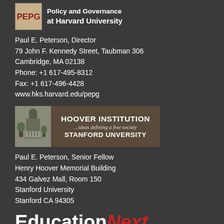[Figure (logo): PEPG - Policy and Governance at Harvard University logo with crimson text on beige background]
Paul E. Peterson, Director
79 John F. Kennedy Street, Taubman 306
Cambridge, MA 02138
Phone: +1 617-495-8312
Fax: +1 617-496-4428
www.hks.harvard.edu/pepg
[Figure (logo): Hoover Institution - ...ideas defining a free society - Stanford University logo with building image]
Paul E. Peterson, Senior Fellow
Henry Hoover Memorial Building
434 Galvez Mall, Room 150
Stanford University
Stanford CA 94305
[Figure (logo): EducationNext logo - Education in white bold, Next in red italic]
A JOURNAL OF OPINION RESEARCH
Paul E. Peterson